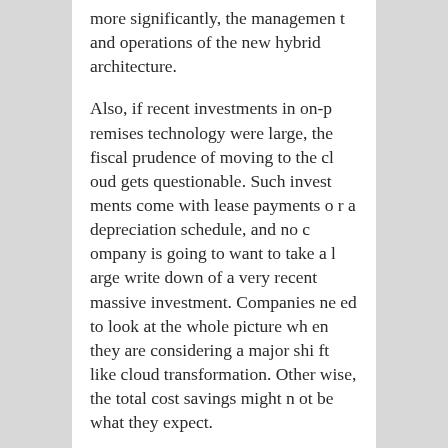more significantly, the management and operations of the new hybrid architecture.
Also, if recent investments in on-premises technology were large, the fiscal prudence of moving to the cloud gets questionable. Such investments come with lease payments or a depreciation schedule, and no company is going to want to take a large write down of a very recent massive investment. Companies need to look at the whole picture when they are considering a major shift like cloud transformation. Otherwise, the total cost savings might not be what they expect.
Once companies answer the hard fiscal questions, it's also important to know which workloads and applications are best suited to the clou